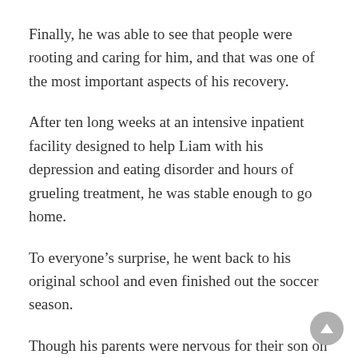Finally, he was able to see that people were rooting and caring for him, and that was one of the most important aspects of his recovery.
After ten long weeks at an intensive inpatient facility designed to help Liam with his depression and eating disorder and hours of grueling treatment, he was stable enough to go home.
To everyone’s surprise, he went back to his original school and even finished out the soccer season.
Though his parents were nervous for their son on his first day back, it filled Deirdre with pride to see her son walk so confidently through those doors.
Liam’s story of overcoming bullying has not only sparked